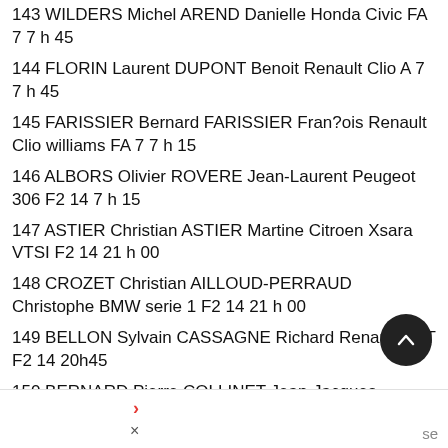143 WILDERS Michel AREND Danielle Honda Civic FA 7 7 h 45
144 FLORIN Laurent DUPONT Benoit Renault Clio A 7 7 h 45
145 FARISSIER Bernard FARISSIER Fran?ois Renault Clio williams FA 7 7 h 15
146 ALBORS Olivier ROVERE Jean-Laurent Peugeot 306 F2 14 7 h 15
147 ASTIER Christian ASTIER Martine Citroen Xsara VTSI F2 14 21 h 00
148 CROZET Christian AILLOUD-PERRAUD Christophe BMW serie 1 F2 14 21 h 00
149 BELLON Sylvain CASSAGNE Richard Renault 11 T F2 14 20h45
150 BERNARD Pierre COLLINET Jean-Jacques Peugeot 206 F2 14 20h45
151 DENTLER Stephane NADEAU Marilyne Renault Megane F2 14 20h45
152 DUTREUIL Guy DUCREUX Robert Merced?s C180 F2 14 20h45